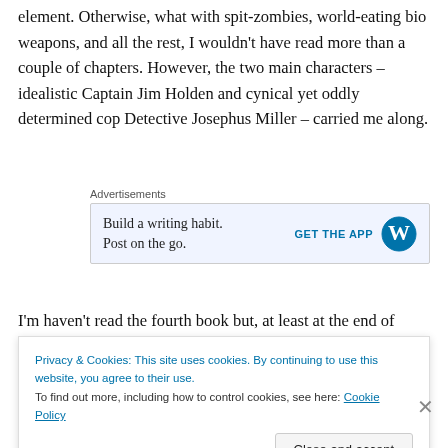element. Otherwise, what with spit-zombies, world-eating bio weapons, and all the rest, I wouldn't have read more than a couple of chapters. However, the two main characters – idealistic Captain Jim Holden and cynical yet oddly determined cop Detective Josephus Miller – carried me along.
[Figure (other): Advertisements banner: 'Build a writing habit. Post on the go.' with a 'GET THE APP' call to action and WordPress logo]
I'm haven't read the fourth book but, at least at the end of the third...
Privacy & Cookies: This site uses cookies. By continuing to use this website, you agree to their use. To find out more, including how to control cookies, see here: Cookie Policy
Close and accept